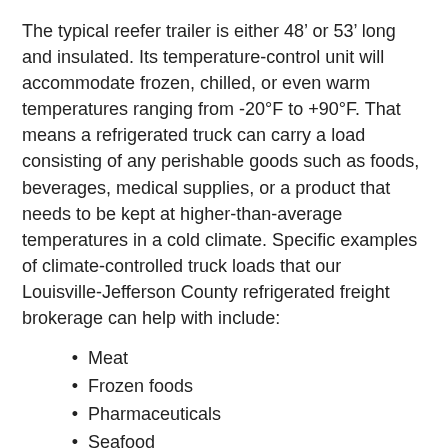The typical reefer trailer is either 48’ or 53’ long and insulated. Its temperature-control unit will accommodate frozen, chilled, or even warm temperatures ranging from -20°F to +90°F. That means a refrigerated truck can carry a load consisting of any perishable goods such as foods, beverages, medical supplies, or a product that needs to be kept at higher-than-average temperatures in a cold climate. Specific examples of climate-controlled truck loads that our Louisville-Jefferson County refrigerated freight brokerage can help with include:
Meat
Frozen foods
Pharmaceuticals
Seafood
Dairy
Fresh fruit and vegetables
If you have any load which requires a temperature-controlled